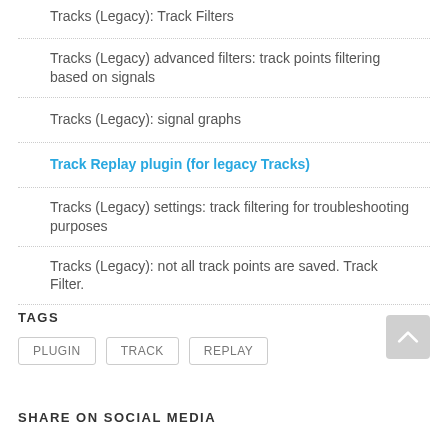Tracks (Legacy): Track Filters
Tracks (Legacy) advanced filters: track points filtering based on signals
Tracks (Legacy): signal graphs
Track Replay plugin (for legacy Tracks)
Tracks (Legacy) settings: track filtering for troubleshooting purposes
Tracks (Legacy): not all track points are saved. Track Filter.
TAGS
PLUGIN
TRACK
REPLAY
SHARE ON SOCIAL MEDIA